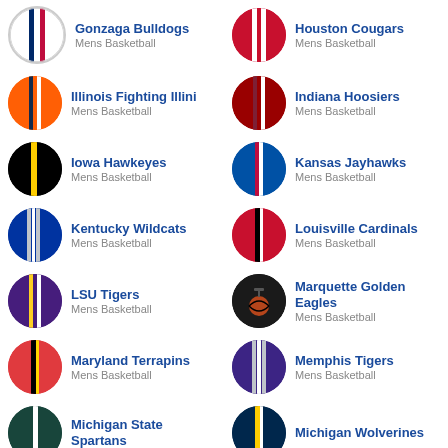Gonzaga Bulldogs
Mens Basketball
Houston Cougars
Mens Basketball
Illinois Fighting Illini
Mens Basketball
Indiana Hoosiers
Mens Basketball
Iowa Hawkeyes
Mens Basketball
Kansas Jayhawks
Mens Basketball
Kentucky Wildcats
Mens Basketball
Louisville Cardinals
Mens Basketball
LSU Tigers
Mens Basketball
Marquette Golden Eagles
Mens Basketball
Maryland Terrapins
Mens Basketball
Memphis Tigers
Mens Basketball
Michigan State Spartans
Michigan Wolverines